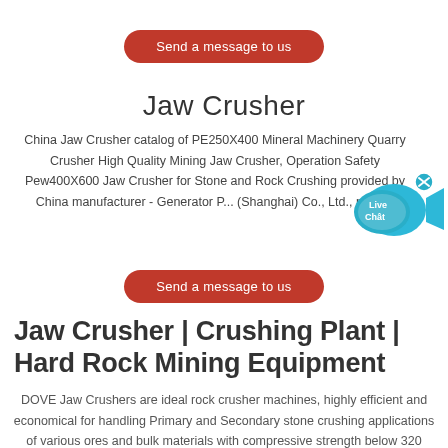[Figure (other): Red rounded button: Send a message to us (top)]
Jaw Crusher
China Jaw Crusher catalog of PE250X400 Mineral Machinery Quarry Crusher High Quality Mining Jaw Crusher, Operation Safety Pew400X600 Jaw Crusher for Stone and Rock Crushing provided by China manufacturer - Generator P... (Shanghai) Co., Ltd., page1.
[Figure (illustration): Live Chat bubble widget in cyan/blue with speech bubble and 'Live Chat' text, with an X close button]
[Figure (other): Red rounded button: Send a message to us (middle)]
Jaw Crusher | Crushing Plant | Hard Rock Mining Equipment
DOVE Jaw Crushers are ideal rock crusher machines, highly efficient and economical for handling Primary and Secondary stone crushing applications of various ores and bulk materials with compressive strength below 320 MPa.DOVE Crushers